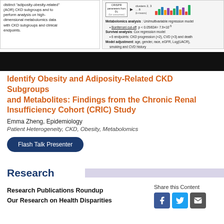[Figure (infographic): Two-panel figure: left panel shows text about adiposity-obesity-related (AOR) CKD subgroups and metabolomics data analysis; right panel shows a workflow diagram with boxes, arrows, clusters, and a grouped bar chart, plus annotation boxes for metabolomics analysis, survival analysis, and model adjustment.]
[Figure (photo): Black banner/bar spanning full width of the page.]
Identify Obesity and Adiposity-Related CKD Subgroups and Metabolites: Findings from the Chronic Renal Insufficiency Cohort (CRIC) Study
Emma Zheng, Epidemiology
Patient Heterogeneity, CKD, Obesity, Metabolomics
Flash Talk Presenter
Research
Research Publications Roundup
Our Research on Health Disparities
Share this Content